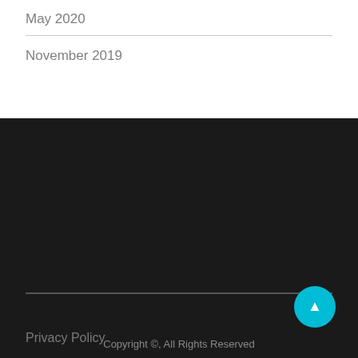May 2020
November 2019
Privacy Policy
Terms and Conditions
Copyright ©, All Rights Reserved